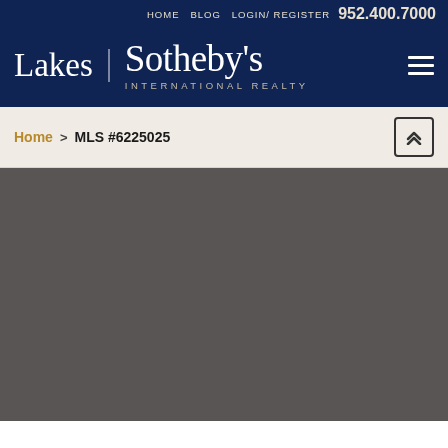HOME BLOG LOGIN/REGISTER 952.400.7000
[Figure (logo): Lakes Sotheby's International Realty logo with white text on dark navy background, with hamburger menu icon on right]
Home > MLS #6225025
[Figure (photo): Dark gray/charcoal image area, likely a property photo placeholder]